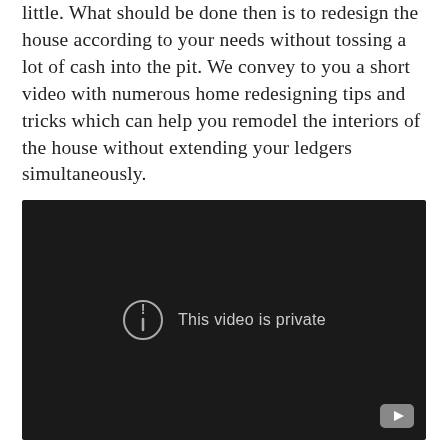little. What should be done then is to redesign the house according to your needs without tossing a lot of cash into the pit. We convey to you a short video with numerous home redesigning tips and tricks which can help you remodel the interiors of the house without extending your ledgers simultaneously.
[Figure (screenshot): Embedded video player showing a dark/black background with a circular exclamation mark icon and the text 'This video is private'. A YouTube logo button is visible in the bottom-right corner.]